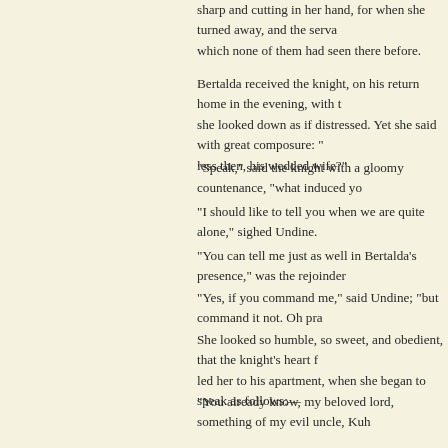sharp and cutting in her hand, for when she turned away, and the serva which none of them had seen there before.
Bertalda received the knight, on his return home in the evening, with t she looked down as if distressed. Yet she said with great composure: " less then, his wedded wife?"
"Speak," said the knight with a gloomy countenance, "what induced yo
"I should like to tell you when we are quite alone," sighed Undine.
"You can tell me just as well in Bertalda's presence," was the rejoinder
"Yes, if you command me," said Undine; "but command it not. Oh pra
She looked so humble, so sweet, and obedient, that the knight's heart f led her to his apartment, when she began to speak as follows:—
"You already know, my beloved lord, something of my evil uncle, Kuh castle. He has several times frightened Bertalda into illness. This is be power of reflecting the world within. He sees, too, sometimes, that you Bertalda perhaps is at the very same moment laughing. Hence he imag our circle. What is the good of reproving him? What is the use of send that the joys and sorrows of love have so sweet a resemblance, and are and a smile allures tears from their secret chambers."
She looked up at Huldbrand, smiling and weeping; and he again exper